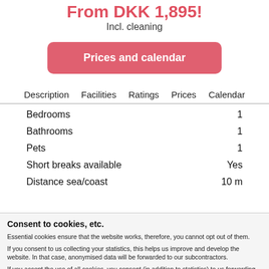From DKK 1,895!
Incl. cleaning
Prices and calendar
Description   Facilities   Ratings   Prices   Calendar
|  |  |
| --- | --- |
| Bedrooms | 1 |
| Bathrooms | 1 |
| Pets | 1 |
| Short breaks available | Yes |
| Distance sea/coast | 10 m |
Consent to cookies, etc.
Essential cookies ensure that the website works, therefore, you cannot opt out of them.
If you consent to us collecting your statistics, this helps us improve and develop the website. In that case, anonymised data will be forwarded to our subcontractors.
If you accept the use of all cookies, you consent (in addition to statistics) to us forwarding data to third parties for personalised marketing purposes.
You can change or withdraw your consent regarding statistics and/or marketing at any given time.
Only essential   Essential and statistics   All
Show details